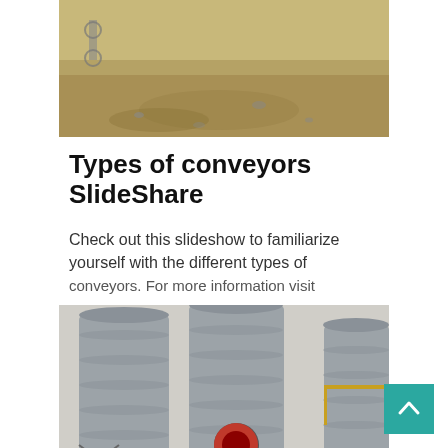[Figure (photo): Outdoor construction or mining site with sandy/dirt ground and equipment visible in background]
Types of conveyors SlideShare
Check out this slideshow to familiarize yourself with the different types of conveyors. For more information visit
[Figure (photo): Industrial facility with large grey cylindrical silos/storage tanks, red pipe outlet, and yellow structural supports]